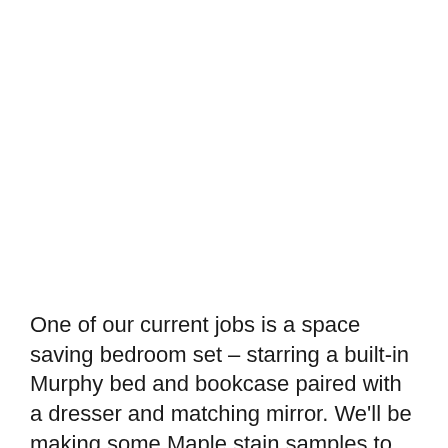One of our current jobs is a space saving bedroom set – starring a built-in Murphy bed and bookcase paired with a dresser and matching mirror. We'll be making some Maple stain samples to send to the client for